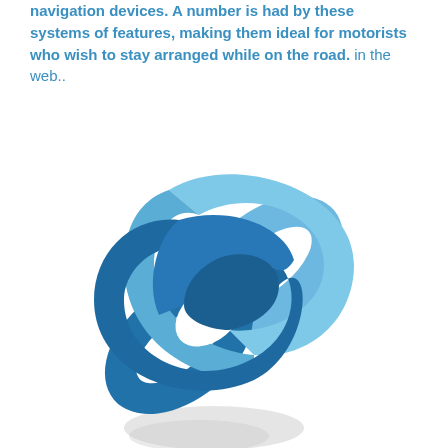navigation devices. A number is had by these systems of features, making them ideal for motorists who wish to stay arranged while on the road. in the web..
[Figure (illustration): A chain link icon showing two interlocked oval chain links — one in lighter blue (upper right) and one in darker blue (lower left) — oriented diagonally. Below the main icon is a faded gray reflection of the lower chain link.]